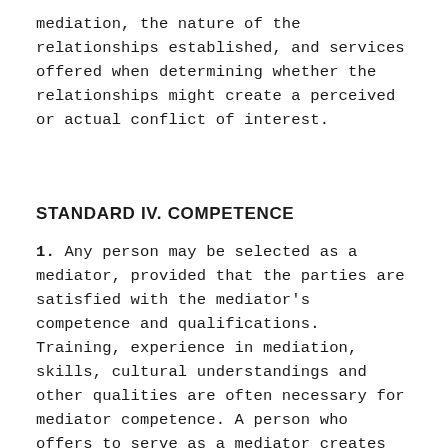mediation, the nature of the relationships established, and services offered when determining whether the relationships might create a perceived or actual conflict of interest.
STANDARD IV. COMPETENCE
1. Any person may be selected as a mediator, provided that the parties are satisfied with the mediator's competence and qualifications. Training, experience in mediation, skills, cultural understandings and other qualities are often necessary for mediator competence. A person who offers to serve as a mediator creates the expectation that the person is competent to